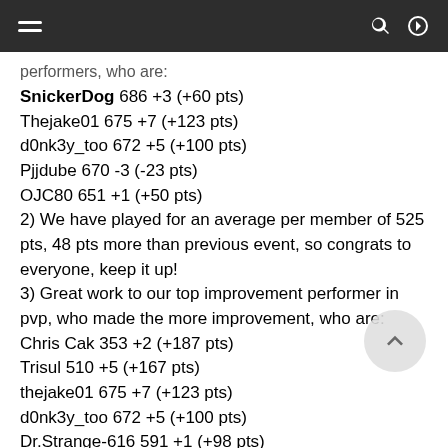≡  🔍  ➜
performers, who are:
SnickerDog 686 +3 (+60 pts)
Thejake01 675 +7 (+123 pts)
d0nk3y_too 672 +5 (+100 pts)
Pjjdube 670 -3 (-23 pts)
OJC80 651 +1 (+50 pts)
2) We have played for an average per member of 525 pts, 48 pts more than previous event, so congrats to everyone, keep it up!
3) Great work to our top improvement performer in pvp, who made the more improvement, who are:
Chris Cak 353 +2 (+187 pts)
Trisul 510 +5 (+167 pts)
thejake01 675 +7 (+123 pts)
d0nk3y_too 672 +5 (+100 pts)
Dr.Strange-616 591 +1 (+98 pts)